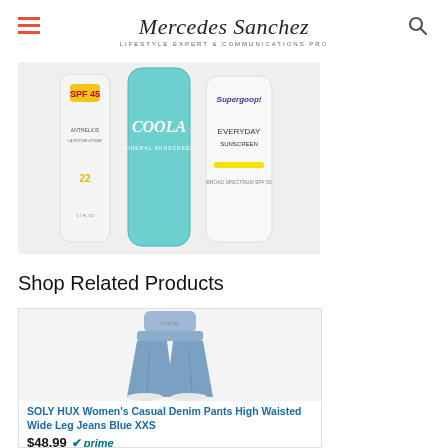Mercedes Sanchez — LIFESTYLE EXPERT & COMMUNICATIONS PRO
[Figure (photo): Three sunscreen product bottles arranged on a white background: an orange/white bottle labeled SPF, a teal COOLA bottle, and a white bottle labeled Everyday Sunscreen.]
Shop Related Products
[Figure (photo): SOLY HUX Women's Casual Denim Pants High Waisted Wide Leg Jeans in Blue XXS — product photo showing a woman wearing wide-leg blue jeans.]
SOLY HUX Women's Casual Denim Pants High Waisted Wide Leg Jeans Blue XXS
$48.99 prime
★★★★☆